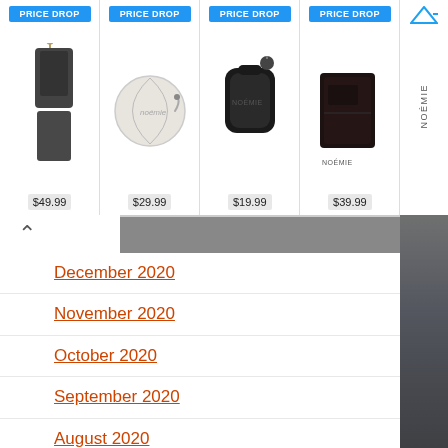[Figure (screenshot): Advertisement banner showing four product images with PRICE DROP badges. Products: black crossbody phone case $49.99, white round coin purse $29.99, black AirPods case $19.99, dark wallet $39.99. Brand: NOÉMIE. Logo top right.]
December 2020
November 2020
October 2020
September 2020
August 2020
July 2020
June 2020
May 2020